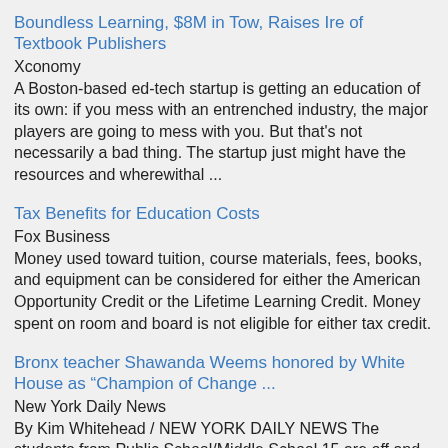Boundless Learning, $8M in Tow, Raises Ire of Textbook Publishers
Xconomy
A Boston-based ed-tech startup is getting an education of its own: if you mess with an entrenched industry, the major players are going to mess with you. But that's not necessarily a bad thing. The startup just might have the resources and wherewithal ...
Tax Benefits for Education Costs
Fox Business
Money used toward tuition, course materials, fees, books, and equipment can be considered for either the American Opportunity Credit or the Lifetime Learning Credit. Money spent on room and board is not eligible for either tax credit.
Bronx teacher Shawanda Weems honored by White House as “Champion of Change ...
New York Daily News
By Kim Whitehead / NEW YORK DAILY NEWS The students from Public School/Middle School 15 are off and running with help from their English teacher, Shawanda Weems. Eight